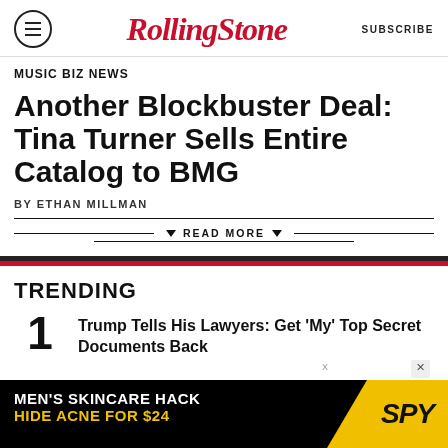Rolling Stone — SUBSCRIBE
MUSIC BIZ NEWS
Another Blockbuster Deal: Tina Turner Sells Entire Catalog to BMG
BY ETHAN MILLMAN
▼ READ MORE ▼
TRENDING
1 Trump Tells His Lawyers: Get 'My' Top Secret Documents Back
[Figure (other): Advertisement banner: MEN'S SKINCARE HACK HIDE ACNE FOR $24 — SPY logo]